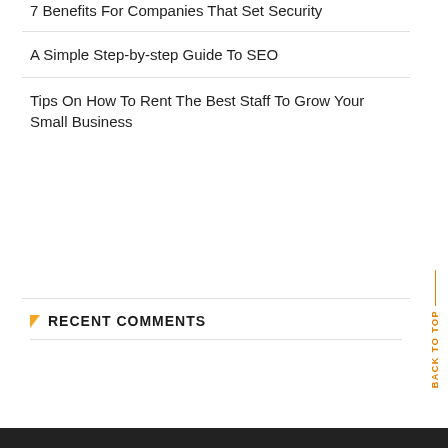7 Benefits For Companies That Set Security
A Simple Step-by-step Guide To SEO
Tips On How To Rent The Best Staff To Grow Your Small Business
RECENT COMMENTS
BACK TO TOP